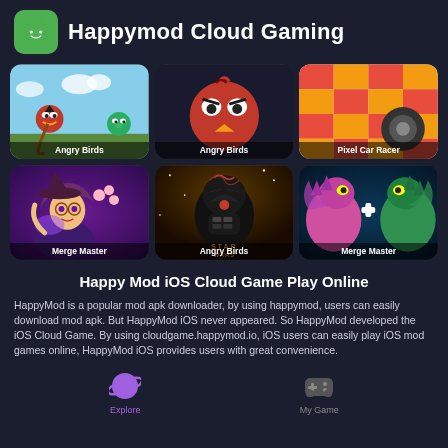Happymod Cloud Gaming
[Figure (screenshot): Grid of 6 game thumbnails: Angry Birds (landscape), Angry Birds (red bird closeup), Pixel Car Racer, Merge Master (witch), Angry Birds Star Wars, Merge Master (dragons)]
Happy Mod iOS Cloud Game Play Online
HappyMod is a popular mod apk downloader, by using happymod, users can easily download mod apk. But HappyMod iOS never appeared. So HappyMod developed the iOS Cloud Game. By using cloudgame.happymod.io, iOS users can easily play iOS mod games online, HappyMod iOS provides users with great convenience.
Explore  My Game